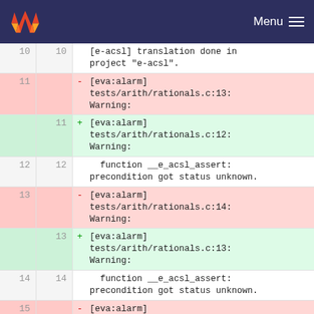GitLab Menu
10 10   [e-acsl] translation done in project "e-acsl".
11  - [eva:alarm] tests/arith/rationals.c:13: Warning:
11 + [eva:alarm] tests/arith/rationals.c:12: Warning:
12 12     function __e_acsl_assert: precondition got status unknown.
13  - [eva:alarm] tests/arith/rationals.c:14: Warning:
13 + [eva:alarm] tests/arith/rationals.c:13: Warning:
14 14     function __e_acsl_assert: precondition got status unknown.
15  - [eva:alarm] tests/arith/rationals.c:14: